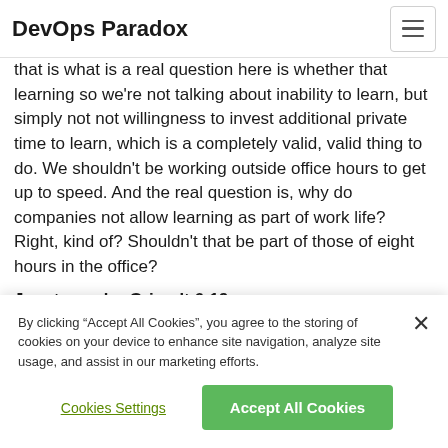DevOps Paradox
that is what is a real question here is whether that learning so we're not talking about inability to learn, but simply not not willingness to invest additional private time to learn, which is a completely valid, valid thing to do. We shouldn't be working outside office hours to get up to speed. And the real question is, why do companies not allow learning as part of work life? Right, kind of? Shouldn't that be part of those of eight hours in the office?
Joost van der Griendt 6:19
Right. And I think this is ready to be sort of unraveling this
By clicking “Accept All Cookies”, you agree to the storing of cookies on your device to enhance site navigation, analyze site usage, and assist in our marketing efforts.